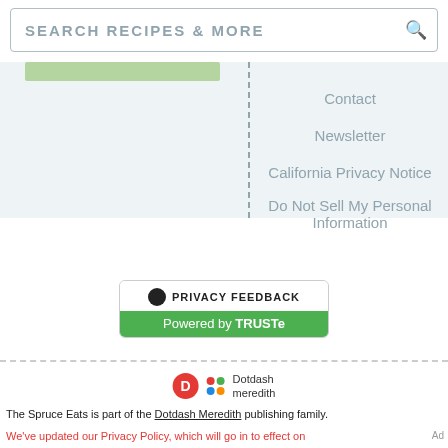SEARCH RECIPES & MORE
Contact
Newsletter
California Privacy Notice
Do Not Sell My Personal Information
[Figure (other): Privacy Feedback badge with TRUSTe branding]
The Spruce Eats is part of the Dotdash Meredith publishing family.
We've updated our Privacy Policy, which will go in to effect on
[Figure (other): Dotdash Meredith ad banner: We help people find answers, solve problems and get inspired.]